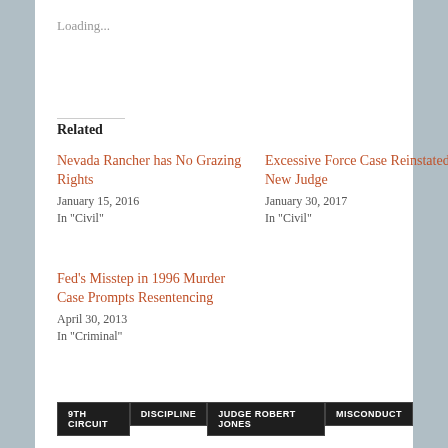Loading...
Related
Nevada Rancher has No Grazing Rights
January 15, 2016
In "Civil"
Excessive Force Case Reinstated, New Judge
January 30, 2017
In "Civil"
Fed's Misstep in 1996 Murder Case Prompts Resentencing
April 30, 2013
In "Criminal"
9TH CIRCUIT
DISCIPLINE
JUDGE ROBERT JONES
MISCONDUCT